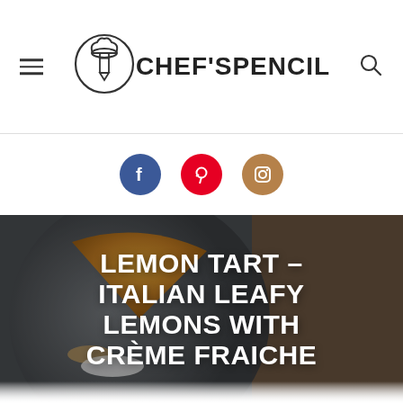[Figure (logo): Chef's Pencil logo: chef hat with pencil inside a circle, text CHEF'SPENCIL]
[Figure (infographic): Social media icons: Facebook (blue), Pinterest (red), Instagram (tan/brown)]
[Figure (photo): Background photo: slice of lemon tart on a dark plate, wooden surface, dark moody tones, partially obscured. White overlay at bottom.]
LEMON TART – ITALIAN LEAFY LEMONS WITH CRÈME FRAICHE